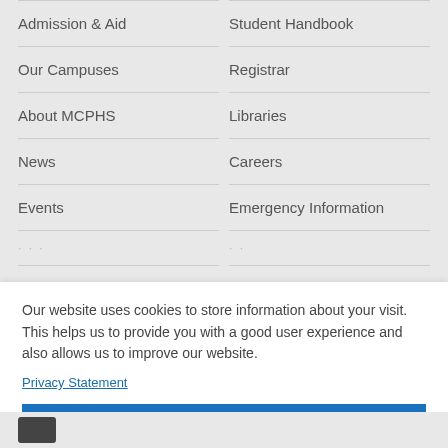Admission & Aid
Student Handbook
Our Campuses
Registrar
About MCPHS
Libraries
News
Careers
Events
Emergency Information
Our website uses cookies to store information about your visit. This helps us to provide you with a good user experience and also allows us to improve our website.
Privacy Statement
I understand.